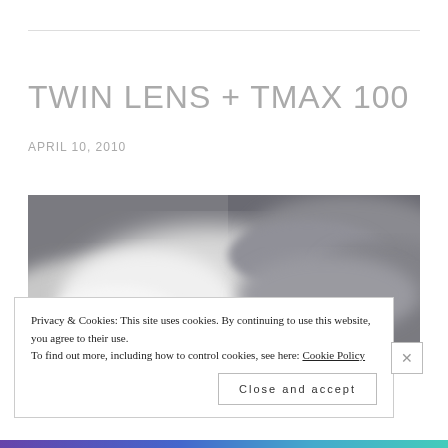TWIN LENS + TMAX 100
APRIL 10, 2010
[Figure (photo): Black and white photograph showing cloudy sky with dramatic cloud formations in shades of grey and white.]
Privacy & Cookies: This site uses cookies. By continuing to use this website, you agree to their use.
To find out more, including how to control cookies, see here: Cookie Policy
Close and accept